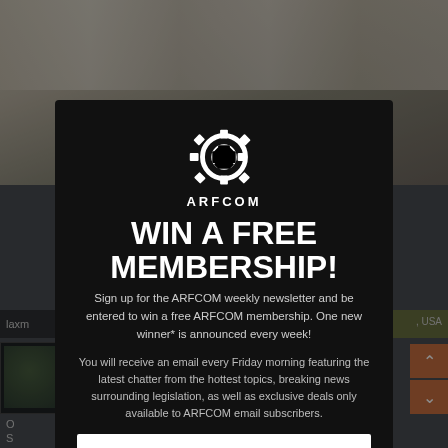[Figure (screenshot): Background screenshot of ARFCOM website showing a rifle image at top and partial forum interface below, partially obscured by a modal popup]
[Figure (other): ARFCOM gear/cog logo in white SVG on dark background]
WIN A FREE MEMBERSHIP!
Sign up for the ARFCOM weekly newsletter and be entered to win a free ARFCOM membership. One new winner* is announced every week!
You will receive an email every Friday morning featuring the latest chatter from the hottest topics, breaking news surrounding legislation, as well as exclusive deals only available to ARFCOM email subscribers.